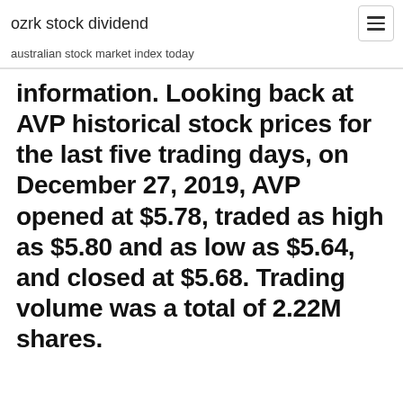ozrk stock dividend
australian stock market index today
information. Looking back at AVP historical stock prices for the last five trading days, on December 27, 2019, AVP opened at $5.78, traded as high as $5.80 and as low as $5.64, and closed at $5.68. Trading volume was a total of 2.22M shares.